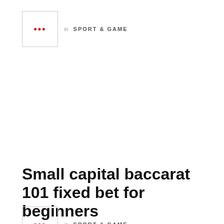[Figure (logo): Small square icon with red ellipsis dots inside a light bordered box]
in SPORT & GAME
Small capital baccarat 101 fixed bet for beginners
[Figure (logo): Small square icon with red ellipsis dots inside a light bordered box]
in SPORT & GAME